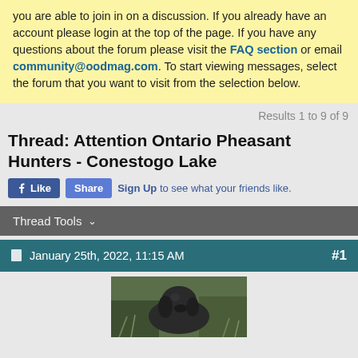you are able to join in on a discussion. If you already have an account please login at the top of the page. If you have any questions about the forum please visit the FAQ section or email community@oodmag.com. To start viewing messages, select the forum that you want to visit from the selection below.
Results 1 to 9 of 9
Thread: Attention Ontario Pheasant Hunters - Conestogo Lake
Like Share Sign Up to see what your friends like.
Thread Tools
January 25th, 2022, 11:15 AM  #1
[Figure (photo): Avatar/profile photo of a dark-colored dog outdoors in natural vegetation]